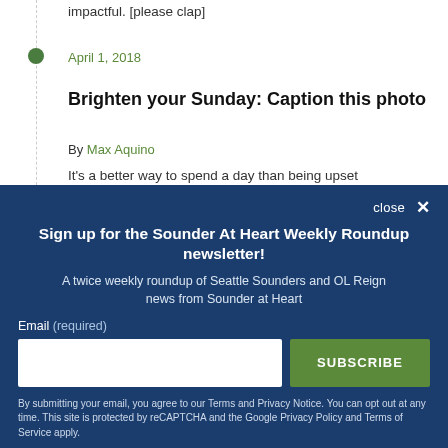impactful. [please clap]
April 1, 2018
Brighten your Sunday: Caption this photo
By Max Aquino
It's a better way to spend a day than being upset
close ✕
Sign up for the Sounder At Heart Weekly Roundup newsletter!
A twice weekly roundup of Seattle Sounders and OL Reign news from Sounder at Heart
Email (required)
SUBSCRIBE
By submitting your email, you agree to our Terms and Privacy Notice. You can opt out at any time. This site is protected by reCAPTCHA and the Google Privacy Policy and Terms of Service apply.